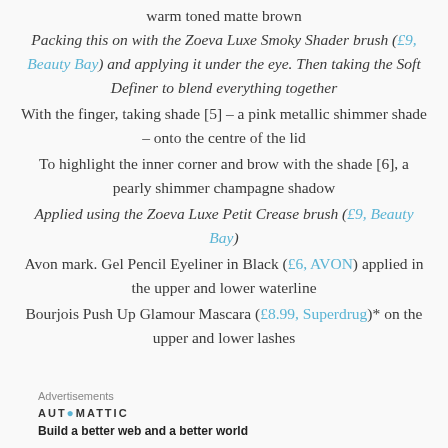warm toned matte brown
Packing this on with the Zoeva Luxe Smoky Shader brush (£9, Beauty Bay) and applying it under the eye. Then taking the Soft Definer to blend everything together
With the finger, taking shade [5] – a pink metallic shimmer shade – onto the centre of the lid
To highlight the inner corner and brow with the shade [6], a pearly shimmer champagne shadow
Applied using the Zoeva Luxe Petit Crease brush (£9, Beauty Bay)
Avon mark. Gel Pencil Eyeliner in Black (£6, AVON) applied in the upper and lower waterline
Bourjois Push Up Glamour Mascara (£8.99, Superdrug)* on the upper and lower lashes
Advertisements
AUTOMATTIC
Build a better web and a better world